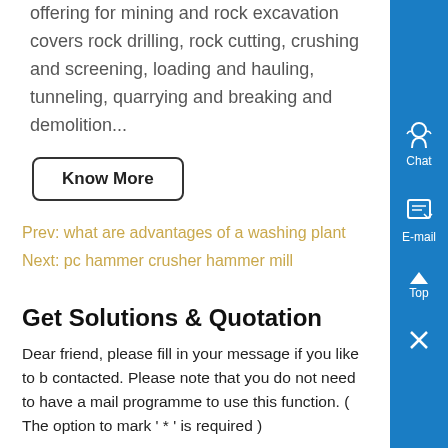offering for mining and rock excavation covers rock drilling, rock cutting, crushing and screening, loading and hauling, tunneling, quarrying and breaking and demolition...
Know More
Prev: what are advantages of a washing plant
Next: pc hammer crusher hammer mill
Get Solutions & Quotation
Dear friend, please fill in your message if you like to be contacted. Please note that you do not need to have a mail programme to use this function. ( The option to mark ' * ' is required )
| *Products | Please Select a product |
| --- | --- |